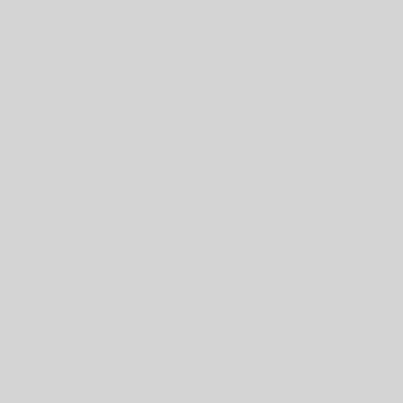"An act granting certain privil time, and by unanimous consent roads.
"An act to incorporate the Nat and by unanimous consent was a
"An act amendatory of and su up of the old channel of Ononda street in said city, and for straigh
130
[Figure (other): Small thumbnail image of a document page]
and navigation.
said creek, between said O and for the removing encro which was read the first ti to the committee on munic
"An act to incorporate t time, and by unanimous consent.
"An act to incorporate the Co read the first time, and by unanin on the judiciary.
"An act to authorize the sale o unanimous consent was also rea